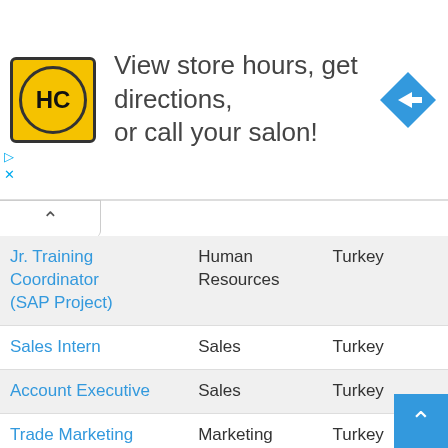[Figure (logo): HC Hair Care logo - yellow circle with HC letters in black, on yellow square background]
View store hours, get directions, or call your salon!
[Figure (illustration): Blue diamond navigation/directions arrow icon]
| Job Title | Department | Location |
| --- | --- | --- |
| Jr. Training Coordinator (SAP Project) | Human Resources | Turkey |
| Sales Intern | Sales | Turkey |
| Account Executive | Sales | Turkey |
| Trade Marketing Executive | Marketing | Turkey |
| SAP Testing & Cut-over Lead | Information Technology | Turkey |
| Commercial and Supply Quality Manager | Supply | Turkey |
| Finance Intern | Finance | Turkey |